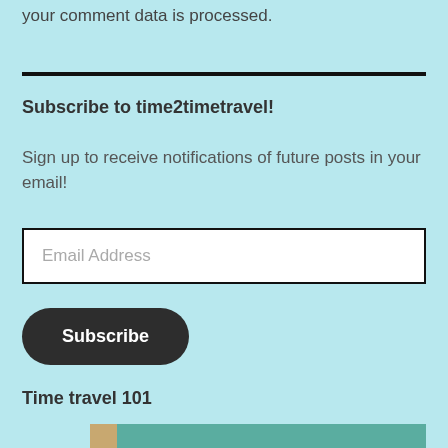your comment data is processed.
Subscribe to time2timetravel!
Sign up to receive notifications of future posts in your email!
Email Address
Subscribe
Time travel 101